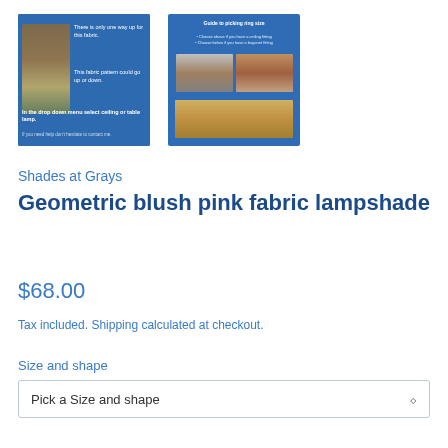[Figure (photo): Two product images side by side on blue backgrounds. Left image shows a fabric lampshade with patchwork/geometric pattern. Right image shows a guide to picking ring size with photos of lamp fittings.]
Shades at Grays
Geometric blush pink fabric lampshade
$68.00
Tax included. Shipping calculated at checkout.
Size and shape
Pick a Size and shape